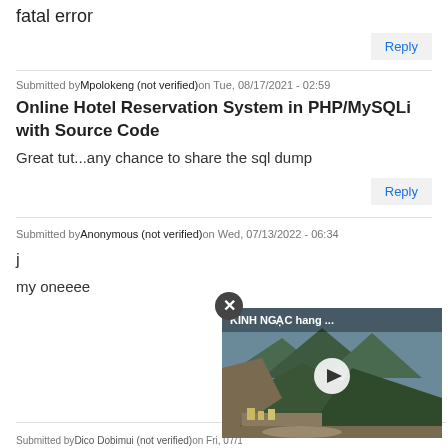fatal error
Reply
Submitted by Mpolokeng (not verified) on Tue, 08/17/2021 - 02:59
Online Hotel Reservation System in PHP/MySQLi with Source Code
Great tut...any chance to share the sql dump
Reply
Submitted by Anonymous (not verified) on Wed, 07/13/2022 - 06:34
j
my oneeee
[Figure (screenshot): Video widget showing 'KINH NGAC hang ...' with mountainous landscape and a play button, with a close (X) button overlay]
Submitted by Dico Dobimui (not verified) on Fri, 07/15/2022 - 09:45